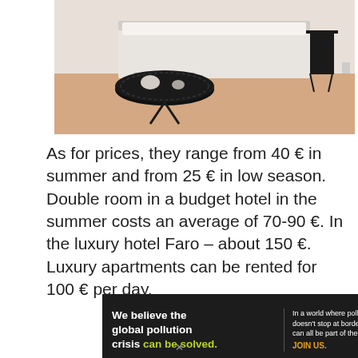[Figure (photo): Interior photo of a budget hotel room showing a black ornate round table with items on it, a single bed with white/gray bedding in the background, and a small black side table to the right on a light wood floor.]
As for prices, they range from 40 € in summer and from 25 € in low season. Double room in a budget hotel in the summer costs an average of 70-90 €. In the luxury hotel Faro – about 150 €. Luxury apartments can be rented for 100 € per day.
[Figure (infographic): Pure Earth advertisement banner with black left section reading 'We believe the global pollution crisis can be solved.' in white and green text, center column with white text 'In a world where pollution doesn't stop at borders, we can all be part of the solution.' and orange 'JOIN US.', and right white section with Pure Earth diamond logo and bold text 'PURE EARTH'.]